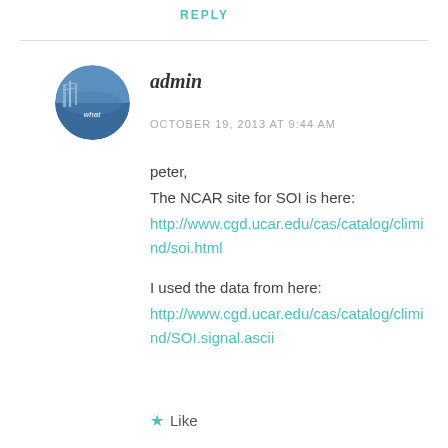REPLY
[Figure (photo): Circular avatar image with a blue winter scene background and text 'what']
admin
OCTOBER 19, 2013 AT 9:44 AM
peter,
The NCAR site for SOI is here:
http://www.cgd.ucar.edu/cas/catalog/climind/soi.html

I used the data from here:
http://www.cgd.ucar.edu/cas/catalog/climind/SOI.signal.ascii
★ Like